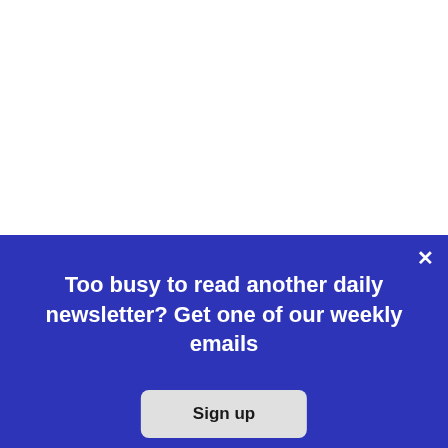3 ways activist kids these days resemble their predecessors
View from The Hill: Tony Abbott tries some climate adaptation for the winds of Warringah
Too busy to read another daily newsletter? Get one of our weekly emails
Sign up